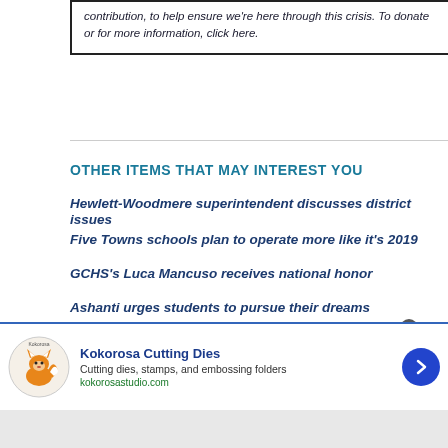contribution, to help ensure we're here through this crisis. To donate or for more information, click here.
OTHER ITEMS THAT MAY INTEREST YOU
Hewlett-Woodmere superintendent discusses district issues
Five Towns schools plan to operate more like it's 2019
GCHS's Luca Mancuso receives national honor
Ashanti urges students to pursue their dreams
Comments
Report an inappropriate comment
[Figure (other): Advertisement for Kokorosa Cutting Dies showing logo with fox, title, description 'Cutting dies, stamps, and embossing folders', website kokorosastudio.com, and a blue circular arrow button]